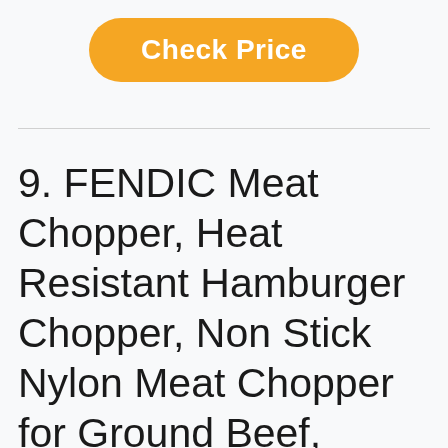[Figure (other): Orange rounded rectangle button with white bold text 'Check Price']
9. FENDIC Meat Chopper, Heat Resistant Hamburger Chopper, Non Stick Nylon Meat Chopper for Ground Beef, Hamburger meat, Ground Turkey, Ground Beef Smasher & Ground Meat Chopper, Potato